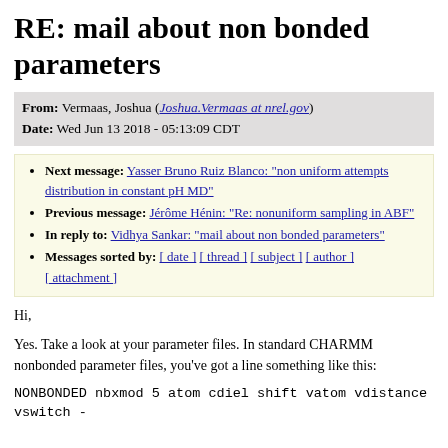RE: mail about non bonded parameters
From: Vermaas, Joshua (Joshua.Vermaas at nrel.gov)
Date: Wed Jun 13 2018 - 05:13:09 CDT
Next message: Yasser Bruno Ruiz Blanco: "non uniform attempts distribution in constant pH MD"
Previous message: Jérôme Hénin: "Re: nonuniform sampling in ABF"
In reply to: Vidhya Sankar: "mail about non bonded parameters"
Messages sorted by: [ date ] [ thread ] [ subject ] [ author ] [ attachment ]
Hi,
Yes. Take a look at your parameter files. In standard CHARMM nonbonded parameter files, you've got a line something like this:
NONBONDED nbxmod 5 atom cdiel shift vatom vdistance vswitch -